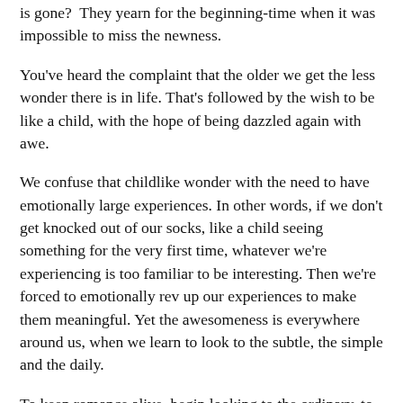is gone? They yearn for the beginning-time when it was impossible to miss the newness.
You've heard the complaint that the older we get the less wonder there is in life. That's followed by the wish to be like a child, with the hope of being dazzled again with awe.
We confuse that childlike wonder with the need to have emotionally large experiences. In other words, if we don't get knocked out of our socks, like a child seeing something for the very first time, whatever we're experiencing is too familiar to be interesting. Then we're forced to emotionally rev up our experiences to make them meaningful. Yet the awesomeness is everywhere around us, when we learn to look to the subtle, the simple and the daily.
To keep romance alive, begin looking to the ordinary, to that which is around you every day. Then ask yourself "What's going on here that I haven't paid attention to?" At first you probably won't see much difference. But that's just a matter of habit. As you continue to open to what is not readily apparent you will begin to see more and more and more. Then the wonder returns. Not as childlike wonder, but as an adult mature wonder.
When you make a sincere commitment to open your eyes, mind and heart, then even a simple handshake will bring you joy and